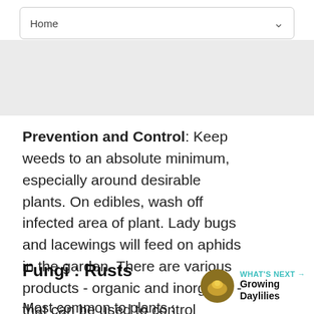Home
Prevention and Control: Keep weeds to an absolute minimum, especially around desirable plants. On edibles, wash off infected area of plant. Lady bugs and lacewings will feed on aphids in the garden. There are various products - organic and inorganic - that can be used to control aphids. Seek the recommendation of a professional and follow all label procedures to a tee.
Fungi : Rusts
Most common to plants specific to host species